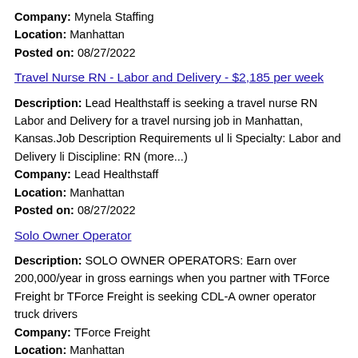Company: Mynela Staffing
Location: Manhattan
Posted on: 08/27/2022
Travel Nurse RN - Labor and Delivery - $2,185 per week
Description: Lead Healthstaff is seeking a travel nurse RN Labor and Delivery for a travel nursing job in Manhattan, Kansas.Job Description Requirements ul li Specialty: Labor and Delivery li Discipline: RN (more...)
Company: Lead Healthstaff
Location: Manhattan
Posted on: 08/27/2022
Solo Owner Operator
Description: SOLO OWNER OPERATORS: Earn over 200,000/year in gross earnings when you partner with TForce Freight br TForce Freight is seeking CDL-A owner operator truck drivers
Company: TForce Freight
Location: Manhattan
Posted on: 08/27/2022
42A Human Resources Specialist
Description: Job Description When a Soldier has a question about benefits, policy, or needs help with a sensitive issue, the Army